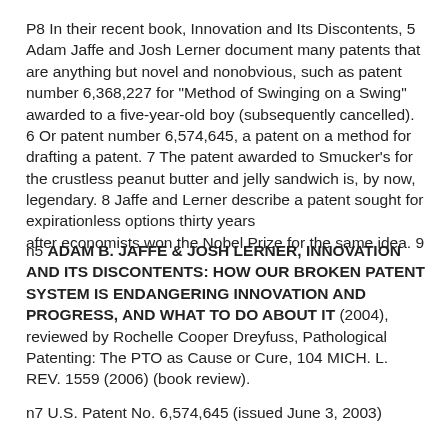P8 In their recent book, Innovation and Its Discontents, 5 Adam Jaffe and Josh Lerner document many patents that are anything but novel and nonobvious, such as patent number 6,368,227 for "Method of Swinging on a Swing" awarded to a five-year-old boy (subsequently cancelled). 6 Or patent number 6,574,645, a patent on a method for drafting a patent. 7 The patent awarded to Smucker's for the crustless peanut butter and jelly sandwich is, by now, legendary. 8 Jaffe and Lerner describe a patent sought for expirationless options thirty years after economists won the Nobel Prize for the same idea. 9
n5 ADAM B. JAFFE & JOSH LERNER, INNOVATION AND ITS DISCONTENTS: HOW OUR BROKEN PATENT SYSTEM IS ENDANGERING INNOVATION AND PROGRESS, AND WHAT TO DO ABOUT IT (2004), reviewed by Rochelle Cooper Dreyfuss, Pathological Patenting: The PTO as Cause or Cure, 104 MICH. L. REV. 1559 (2006) (book review).
n7 U.S. Patent No. 6,574,645 (issued June 3, 2003)